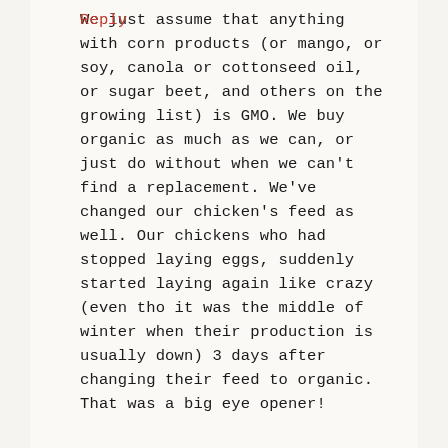We just assume that anything with corn products (or mango, or soy, canola or cottonseed oil, or sugar beet, and others on the growing list) is GMO. We buy organic as much as we can, or just do without when we can't find a replacement. We've changed our chicken's feed as well. Our chickens who had stopped laying eggs, suddenly started laying again like crazy (even tho it was the middle of winter when their production is usually down) 3 days after changing their feed to organic. That was a big eye opener!
Reply